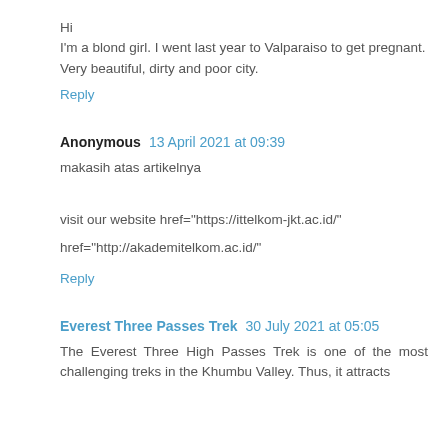Hi
I'm a blond girl. I went last year to Valparaiso to get pregnant.
Very beautiful, dirty and poor city.
Reply
Anonymous  13 April 2021 at 09:39
makasih atas artikelnya
visit our website href="https://ittelkom-jkt.ac.id/"
href="http://akademitelkom.ac.id/"
Reply
Everest Three Passes Trek  30 July 2021 at 05:05
The Everest Three High Passes Trek is one of the most challenging treks in the Khumbu Valley. Thus, it attracts